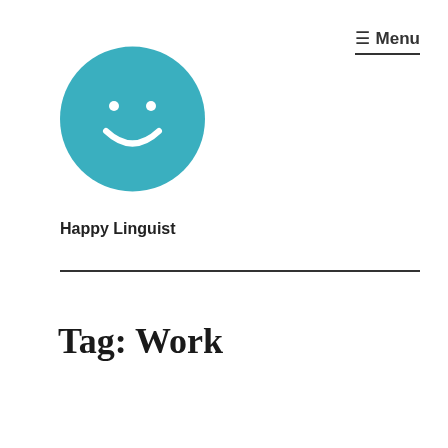[Figure (logo): Teal circle with white smiley face (two dots for eyes and a curved smile arc) — logo for Happy Linguist]
≡ Menu
Happy Linguist
Tag: Work